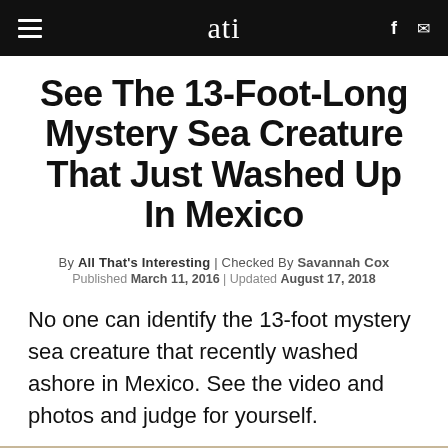ati
See The 13-Foot-Long Mystery Sea Creature That Just Washed Up In Mexico
By All That's Interesting | Checked By Savannah Cox
Published March 11, 2016 | Updated August 17, 2018
No one can identify the 13-foot mystery sea creature that recently washed ashore in Mexico. See the video and photos and judge for yourself.
[Figure (photo): Beach scene with sand and water visible at bottom of page]